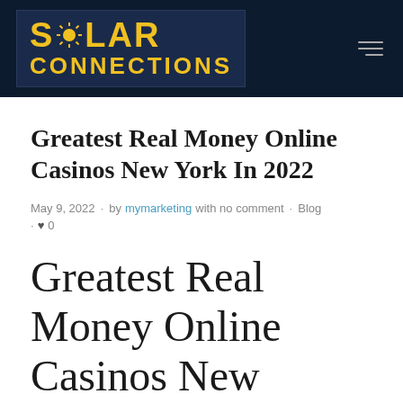[Figure (logo): Solar Connections logo — yellow bold text on dark navy background with sun icon]
Greatest Real Money Online Casinos New York In 2022
May 9, 2022 · by mymarketing with no comment · Blog · ♥ 0
Greatest Real Money Online Casinos New